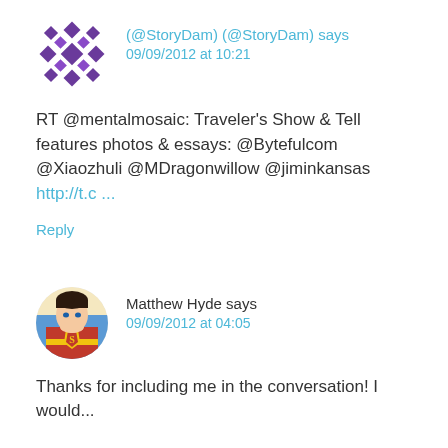[Figure (illustration): Purple geometric/snowflake avatar icon for @StoryDam]
(@StoryDam) (@StoryDam) says
09/09/2012 at 10:21
RT @mentalmosaic: Traveler's Show & Tell features photos & essays: @Bytefulcom @Xiaozhuli @MDragonwillow @jiminkansas http://t.c ...
Reply
[Figure (illustration): Superman avatar icon for Matthew Hyde]
Matthew Hyde says
09/09/2012 at 04:05
Thanks for including me in the conversation! I would...